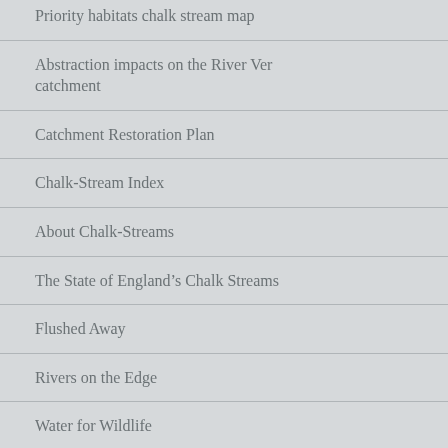Priority habitats chalk stream map
Abstraction impacts on the River Ver catchment
Catchment Restoration Plan
Chalk-Stream Index
About Chalk-Streams
The State of England's Chalk Streams
Flushed Away
Rivers on the Edge
Water for Wildlife
Chalk stream restoration advice / consultancy